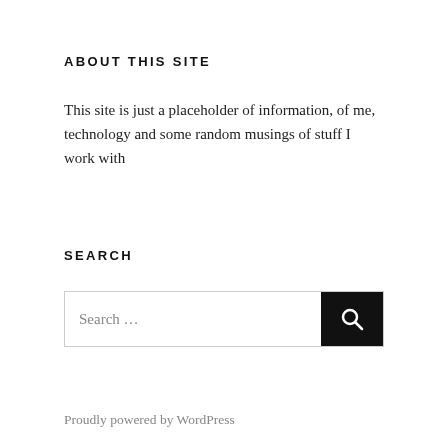ABOUT THIS SITE
This site is just a placeholder of information, of me, technology and some random musings of stuff I work with
SEARCH
Search …
Proudly powered by WordPress